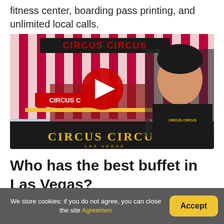fitness center, boarding pass printing, and unlimited local calls.
[Figure (screenshot): YouTube video thumbnail showing Circus Circus Las Vegas hotel exterior with colorful striped tent and neon signs, alongside a man in a black Circus Circus t-shirt. A red YouTube play button is overlaid in the center.]
Who has the best buffet in Las Vegas?
We store cookies: if you do not agree, you can close the site Agreemen